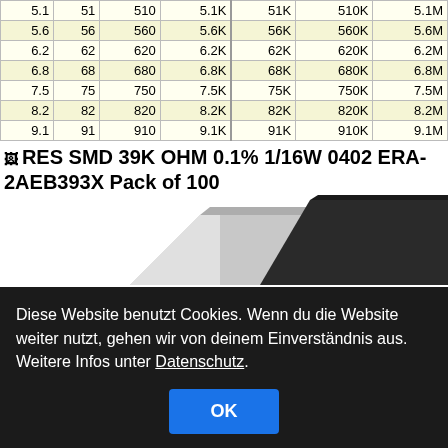|  |  |  |  |  |  |  |
| --- | --- | --- | --- | --- | --- | --- |
| 5.1 | 51 | 510 | 5.1K | 51K | 510K | 5.1M |
| 5.6 | 56 | 560 | 5.6K | 56K | 560K | 5.6M |
| 6.2 | 62 | 620 | 6.2K | 62K | 620K | 6.2M |
| 6.8 | 68 | 680 | 6.8K | 68K | 680K | 6.8M |
| 7.5 | 75 | 750 | 7.5K | 75K | 750K | 7.5M |
| 8.2 | 82 | 820 | 8.2K | 82K | 820K | 8.2M |
| 9.1 | 91 | 910 | 9.1K | 91K | 910K | 9.1M |
RES SMD 39K OHM 0.1% 1/16W 0402 ERA-2AEB393X Pack of 100
[Figure (photo): SMD resistor chip components, light grey and dark/black colored, shown at angle]
Diese Website benutzt Cookies. Wenn du die Website weiter nutzt, gehen wir von deinem Einverständnis aus. Weitere Infos unter Datenschutz.